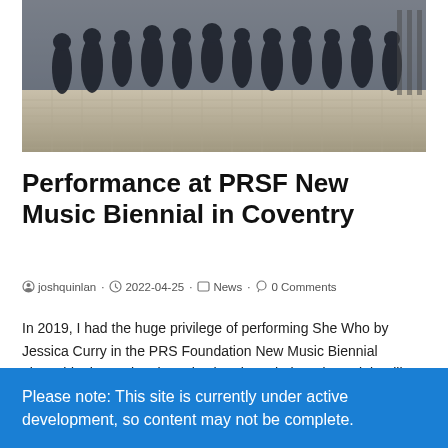[Figure (photo): Group of people dressed in black formal attire standing outdoors on a cobblestone area, likely a choir group]
Performance at PRSF New Music Biennial in Coventry
joshquinlan · 2022-04-25 · News · 0 Comments
In 2019, I had the huge privilege of performing She Who by Jessica Curry in the PRS Foundation New Music Biennial alongside the National Youth Chamber Choir and Dominic Ellis-Peckham…
Please note: This site is currently under active development, so content may not be complete.